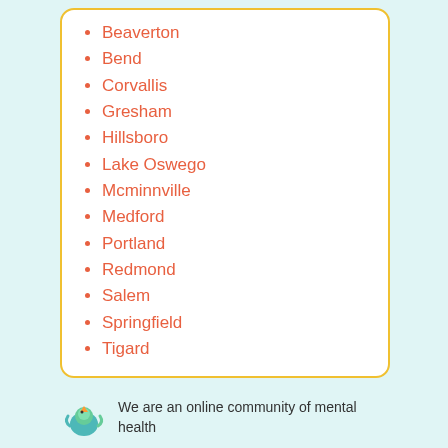Beaverton
Bend
Corvallis
Gresham
Hillsboro
Lake Oswego
Mcminnville
Medford
Portland
Redmond
Salem
Springfield
Tigard
We are an online community of mental health